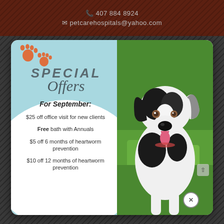407 884 8924
petcarehospitals@yahoo.com
[Figure (infographic): Special Offers promotional card for a veterinary clinic showing a black and white dog on green grass. Left panel is light blue with paw prints, 'SPECIAL Offers' heading, and a white oval section listing September promotions: $25 off office visit for new clients, Free bath with Annuals, $5 off 6 months of heartworm prevention, $10 off 12 months of heartworm prevention. Right panel shows a photo of a happy black and white dog sitting on green grass.]
For September:
$25 off office visit for new clients
Free bath with Annuals
$5 off 6 months of heartworm prevention
$10 off 12 months of heartworm prevention